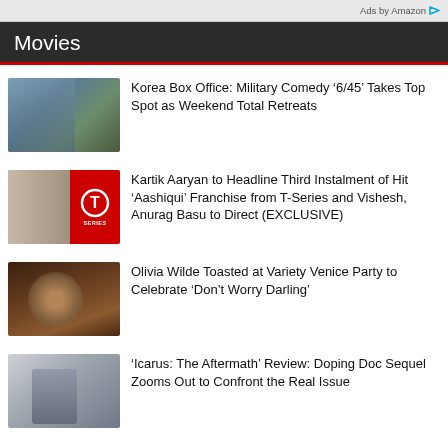Ads by Amazon
Movies
Korea Box Office: Military Comedy '6/45' Takes Top Spot as Weekend Total Retreats
Kartik Aaryan to Headline Third Instalment of Hit 'Aashiqui' Franchise from T-Series and Vishesh, Anurag Basu to Direct (EXCLUSIVE)
Olivia Wilde Toasted at Variety Venice Party to Celebrate 'Don't Worry Darling'
'Icarus: The Aftermath' Review: Doping Doc Sequel Zooms Out to Confront the Real Issue